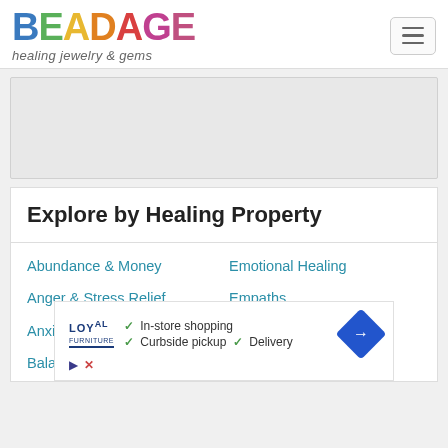BEADAGE healing jewelry & gems
[Figure (other): Gray advertisement banner placeholder]
Explore by Healing Property
Abundance & Money
Emotional Healing
Anger & Stress Relief
Empaths
Anxiety & Depression
Empowerment
Balance
Grief & Letting Go
[Figure (other): Advertisement overlay: Loyal Furniture - In-store shopping, Curbside pickup, Delivery with navigation arrow icon]